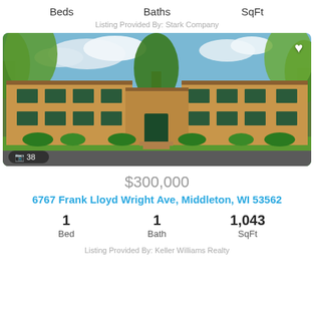Beds    Baths    SqFt
Listing Provided By: Stark Company
[Figure (photo): Exterior photo of a two-story brick apartment/condo building with trees, green lawn, and a parking area in front. Photo count badge showing camera icon and 38.]
$300,000
6767 Frank Lloyd Wright Ave, Middleton, WI 53562
1 Bed   1 Bath   1,043 SqFt
Listing Provided By: Keller Williams Realty